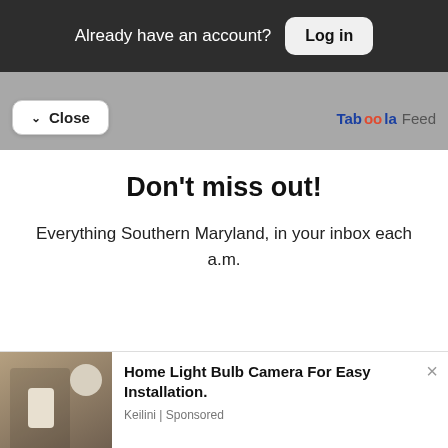Already have an account? Log in
Close
Taboola Feed
Don't miss out!
Everything Southern Maryland, in your inbox each a.m.
Free Newsletters 1
Daily Digest
A roundup of the latest news, delivered weekday mornings.
Home Light Bulb Camera For Easy Installation.
Keilini | Sponsored